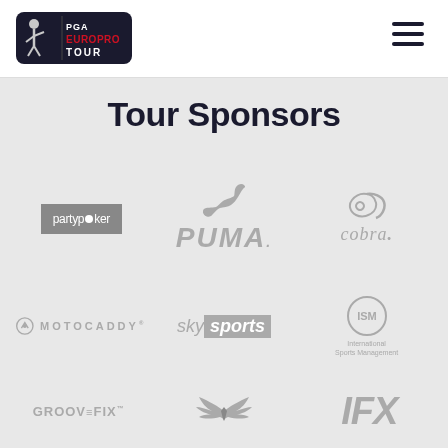[Figure (logo): PGA EuroPro Tour logo — dark navy rounded rectangle with golfer silhouette and text PGA EUROPRO TOUR]
[Figure (other): Hamburger menu icon — three horizontal dark lines]
Tour Sponsors
[Figure (logo): partypoker logo — grey background box with white text 'partypoker']
[Figure (logo): PUMA logo — grey puma leaping cat icon with italic PUMA text]
[Figure (logo): Cobra logo — grey cobra snake graphic with 'cobra.' text]
[Figure (logo): Motocaddy logo — grey circular icon with MOTOCADDY text]
[Figure (logo): Sky Sports logo — grey 'sky' text with grey box containing 'sports']
[Figure (logo): ISM (International Sports Management) logo — circular grey icon with ISM letters and text below]
[Figure (logo): GROOVEFIX logo — grey uppercase text GROOVEFIX with trademark symbol]
[Figure (logo): Eagle/wing logo — grey stylized bird wings with central shield]
[Figure (logo): IFX logo — large grey italic bold text IFX]